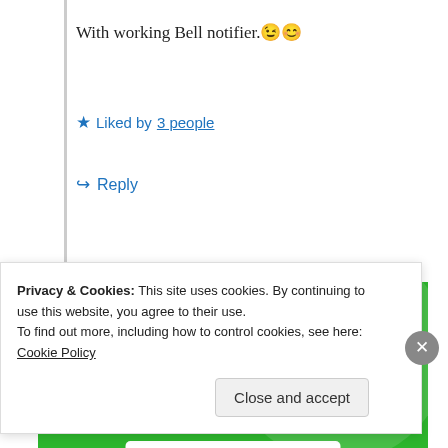With working Bell notifier. 😉 😊
★ Liked by 3 people
↪ Reply
[Figure (illustration): Green advertisement banner reading 'We guard your WordPress site. You run your business.' with a 'Secure Your Site' button]
Privacy & Cookies: This site uses cookies. By continuing to use this website, you agree to their use.
To find out more, including how to control cookies, see here: Cookie Policy
Close and accept